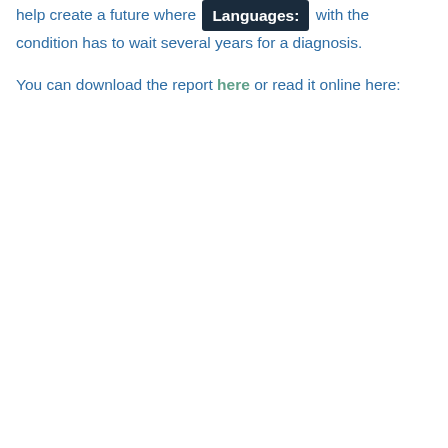help create a future where [Languages:] with the condition has to wait several years for a diagnosis.
You can download the report here or read it online here: